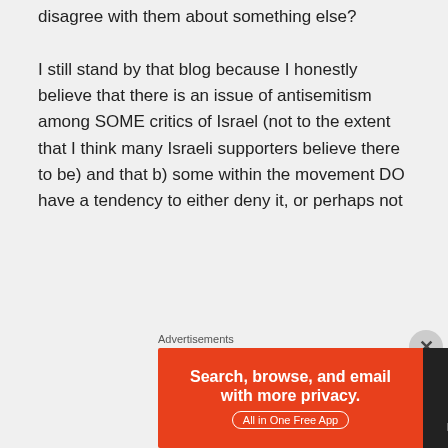disagree with them about something else?

I still stand by that blog because I honestly believe that there is an issue of antisemitism among SOME critics of Israel (not to the extent that I think many Israeli supporters believe there to be) and that b) some within the movement DO have a tendency to either deny it, or perhaps not
Advertisements
[Figure (infographic): DuckDuckGo advertisement banner: orange left side reads 'Search, browse, and email with more privacy. All in One Free App'; dark right side shows DuckDuckGo duck logo and brand name.]